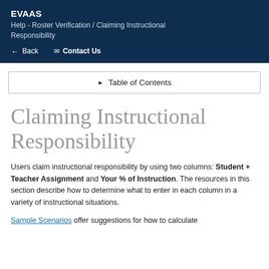EVAAS
Help - Roster Verification / Claiming Instructional Responsibility
← Back   ✉ Contact Us
▶ Table of Contents
Claiming Instructional Responsibility
Users claim instructional responsibility by using two columns: Student + Teacher Assignment and Your % of Instruction. The resources in this section describe how to determine what to enter in each column in a variety of instructional situations.
Sample Scenarios offer suggestions for how to calculate